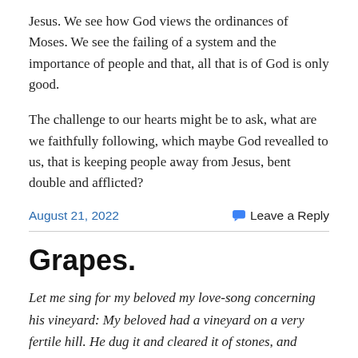Jesus. We see how God views the ordinances of Moses. We see the failing of a system and the importance of people and that, all that is of God is only good.
The challenge to our hearts might be to ask, what are we faithfully following, which maybe God revealled to us, that is keeping people away from Jesus, bent double and afflicted?
August 21, 2022
Leave a Reply
Grapes.
Let me sing for my beloved my love-song concerning his vineyard: My beloved had a vineyard on a very fertile hill. He dug it and cleared it of stones, and planted it with